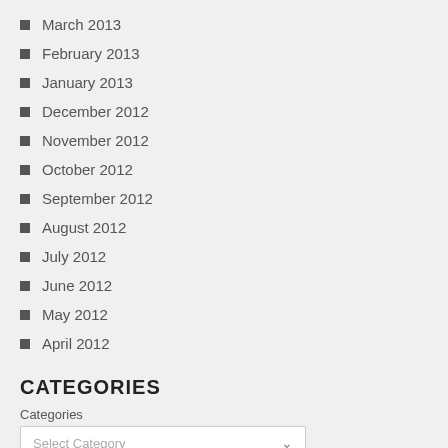March 2013
February 2013
January 2013
December 2012
November 2012
October 2012
September 2012
August 2012
July 2012
June 2012
May 2012
April 2012
CATEGORIES
Categories
Select Category